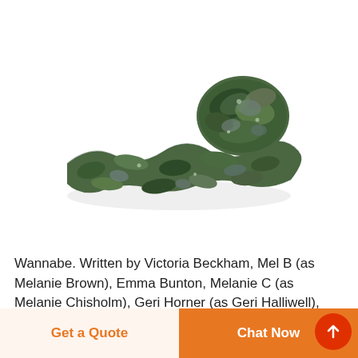[Figure (photo): A rolled camouflage net in green and grey tones, displayed on a white background.]
Wannabe. Written by Victoria Beckham, Mel B (as Melanie Brown), Emma Bunton, Melanie C (as Melanie Chisholm), Geri Horner (as Geri Halliwell), Richard
Get a Quote
Chat Now